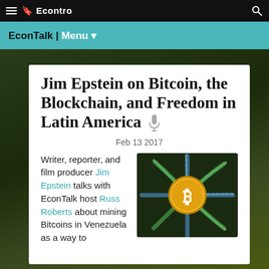Econtro
EconTalk | Menu ▾
Jim Epstein on Bitcoin, the Blockchain, and Freedom in Latin America
Feb 13 2017
[Figure (illustration): Stylized Bitcoin coin with chain-link network strands radiating outward, gold coin with B symbol in center]
Writer, reporter, and film producer Jim Epstein talks with EconTalk host Russ Roberts about mining Bitcoins in Venezuela as a way to